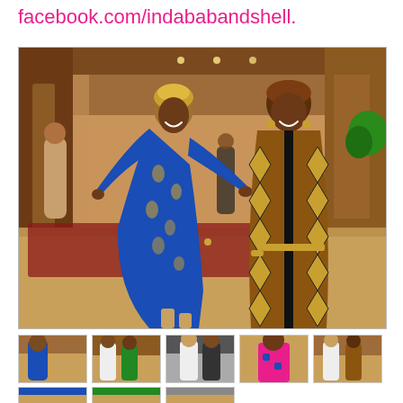facebook.com/indababandshell.
[Figure (photo): Two women posing and smiling in African-inspired outfits in an indoor venue. The woman on the left wears a blue patterned dress with wide sleeves and a gold headwrap; the woman on the right wears a black outfit under a brown geometric-patterned long cardigan.]
[Figure (photo): Thumbnail: woman in blue dress]
[Figure (photo): Thumbnail: people in colorful outfits indoors]
[Figure (photo): Thumbnail: man in white suit with others]
[Figure (photo): Thumbnail: woman in patterned colorful dress]
[Figure (photo): Thumbnail: two people posing]
[Figure (photo): Thumbnail row 2: partial view 1]
[Figure (photo): Thumbnail row 2: partial view 2]
[Figure (photo): Thumbnail row 2: partial view 3]